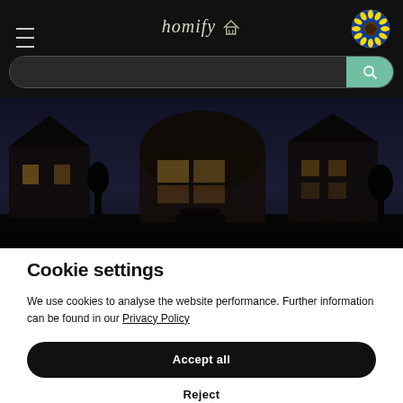homify
[Figure (photo): Dark evening photo of residential houses with illuminated windows and a dome-shaped building in the center, against a dusk sky]
Cookie settings
We use cookies to analyse the website performance. Further information can be found in our Privacy Policy
Accept all
Reject